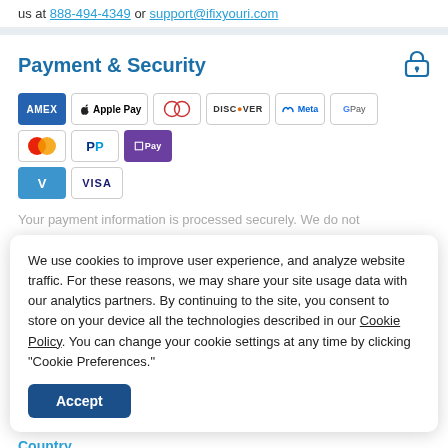us at 888-494-4349 or support@ifixyouri.com
Payment & Security
[Figure (infographic): Payment method icons: AMEX, Apple Pay, Diners Club, Discover, Meta Pay, Google Pay, Mastercard, PayPal, O Pay, Venmo, Visa]
Your payment information is processed securely. We do not
We use cookies to improve user experience, and analyze website traffic. For these reasons, we may share your site usage data with our analytics partners. By continuing to the site, you consent to store on your device all the technologies described in our Cookie Policy. You can change your cookie settings at any time by clicking "Cookie Preferences."
Accept
Country